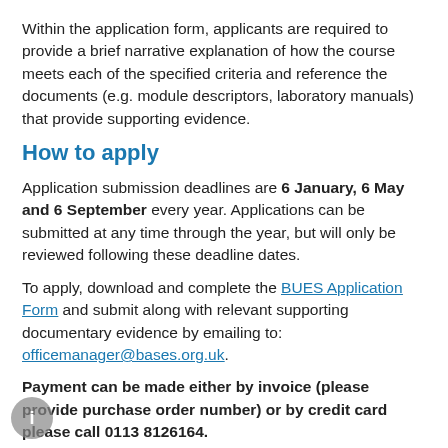Within the application form, applicants are required to provide a brief narrative explanation of how the course meets each of the specified criteria and reference the documents (e.g. module descriptors, laboratory manuals) that provide supporting evidence.
How to apply
Application submission deadlines are 6 January, 6 May and 6 September every year. Applications can be submitted at any time through the year, but will only be reviewed following these deadline dates.
To apply, download and complete the BUES Application Form and submit along with relevant supporting documentary evidence by emailing to: officemanager@bases.org.uk.
Payment can be made either by invoice (please provide purchase order number) or by credit card please call 0113 8126164.